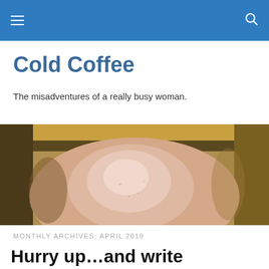Cold Coffee — navigation bar
Cold Coffee
The misadventures of a really busy woman.
[Figure (photo): Close-up photo of a coffee mug with a foamy beige/pink liquid, viewed from above, with a yellow-brown ceramic mug visible at the edges.]
MONTHLY ARCHIVES: APRIL 2019
Hurry up…and write
You know that old saying, “Hurry up and wait”?
That seems to be what getting started in the freelance